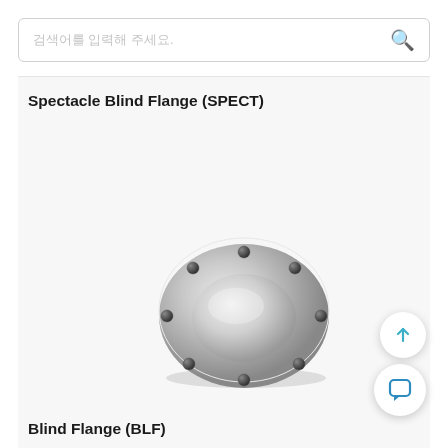검색어를 입력해 주세요.
Spectacle Blind Flange (SPECT)
[Figure (photo): A circular metallic blind flange with multiple bolt holes around its perimeter, shown in a silver/chrome finish, viewed from a slight angle.]
Blind Flange (BLF)